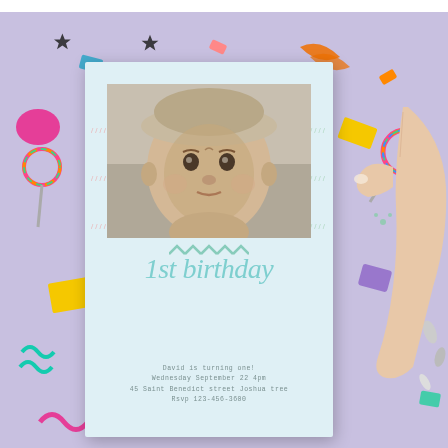[Figure (photo): Birthday invitation card product photo. A pale blue invitation card is held by a hand against a lavender background with colorful confetti. The card features a black-and-white photo of a baby wearing a hat, decorative slash marks in pink and mint on both sides, teal chevron accents, large cursive script reading '1st birthday' in teal, and smaller text below reading 'David is turning one!', 'Wednesday September 22 4pm', '45 Saint Benedict Street Joshua Tree', 'Rsvp 123-456-3600'.]